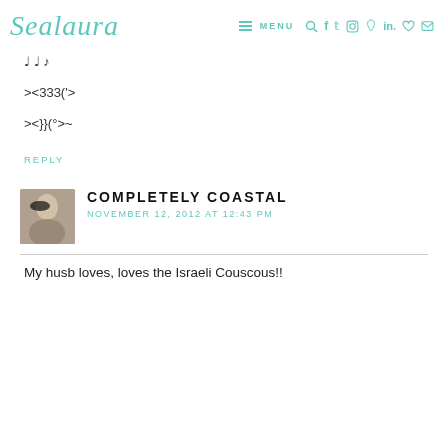Sealaura — MENU navigation icons
♩♩♪
><333('>
><}}(°>~
REPLY
COMPLETELY COASTAL
NOVEMBER 12, 2012 AT 12:43 PM
My husb loves, loves the Israeli Couscous!!